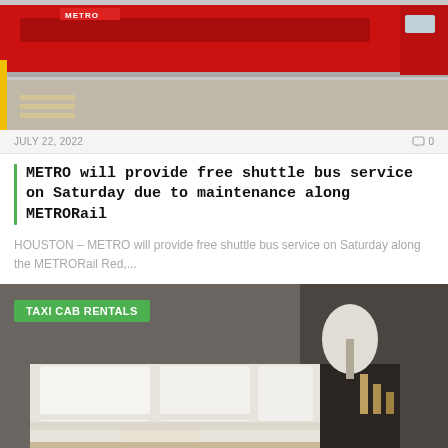[Figure (photo): Red METRO rail train at a station crossing, with a yellow pole and crosswalk visible in the foreground, concrete ground, grey sky background.]
JULY 22, 2022   0
METRO will provide free shuttle bus service on Saturday due to maintenance along METRORail
HOUSTON – METRO will provide free shuttle bus service on Saturday along the METRORail Red,...
[Figure (photo): Hotel bed with white and beige linens, decorative pillows, lamp and candles on nightstand, dark background.]
TAXI CAB RENTALS